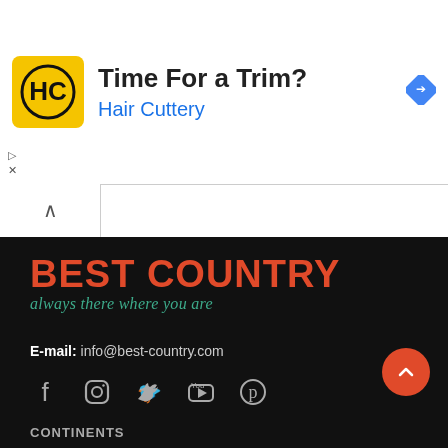[Figure (other): Advertisement banner for Hair Cuttery with logo, text 'Time For a Trim?' and 'Hair Cuttery', and a blue navigation diamond icon]
[Figure (logo): Best Country website logo: large red bold text 'BEST COUNTRY' with teal italic tagline 'always there where you are' on dark background]
E-mail: info@best-country.com
[Figure (other): Social media icons row: Facebook, Instagram, Twitter, YouTube, Pinterest]
CONTINENTS